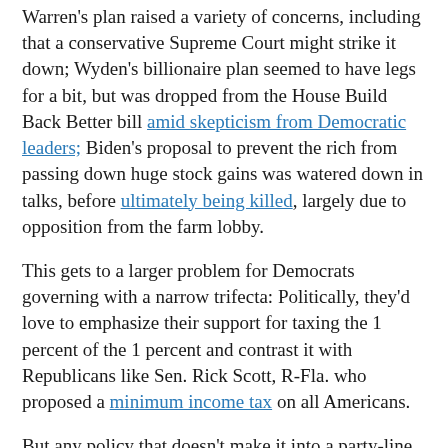Warren's plan raised a variety of concerns, including that a conservative Supreme Court might strike it down; Wyden's billionaire plan seemed to have legs for a bit, but was dropped from the House Build Back Better bill amid skepticism from Democratic leaders; Biden's proposal to prevent the rich from passing down huge stock gains was watered down in talks, before ultimately being killed, largely due to opposition from the farm lobby.
This gets to a larger problem for Democrats governing with a narrow trifecta: Politically, they'd love to emphasize their support for taxing the 1 percent of the 1 percent and contrast it with Republicans like Sen. Rick Scott, R-Fla. who proposed a minimum income tax on all Americans.
But any policy that doesn't make it into a party-line bill this year is missing because at least one Democratic senator opposed it. That means the news in Congress has been focused on their divisions at least as much as their differences with the other